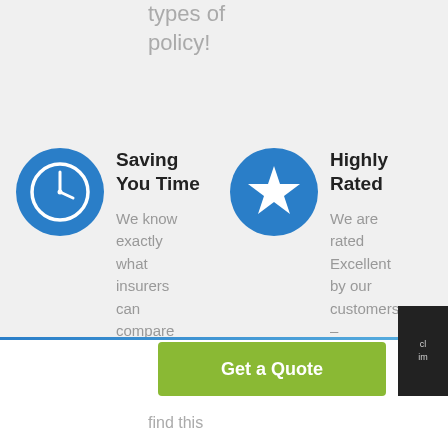types of policy!
[Figure (illustration): Blue circle icon with a clock/time symbol inside]
Saving You Time
We know exactly what insurers can compare what risks
[Figure (illustration): Blue circle icon with a star symbol inside]
Highly Rated
We are rated Excellent by our customers – something
Get a Quote
find this